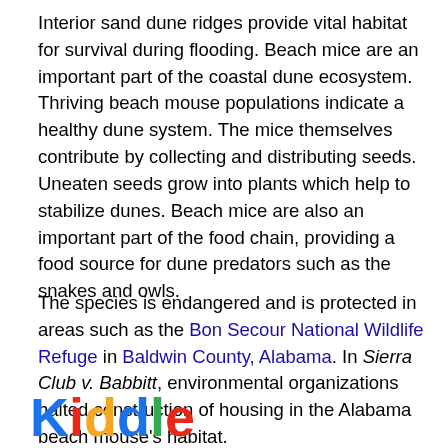Interior sand dune ridges provide vital habitat for survival during flooding. Beach mice are an important part of the coastal dune ecosystem. Thriving beach mouse populations indicate a healthy dune system. The mice themselves contribute by collecting and distributing seeds. Uneaten seeds grow into plants which help to stabilize dunes. Beach mice are also an important part of the food chain, providing a food source for dune predators such as the snakes and owls.
The species is endangered and is protected in areas such as the Bon Secour National Wildlife Refuge in Baldwin County, Alabama. In Sierra Club v. Babbitt, environmental organizations halted construction of housing in the Alabama beach mouse's habitat.
[Figure (logo): Kiddle logo in colorful letters: K (blue), i (red), d (orange), d (blue), l (green), e (red)]